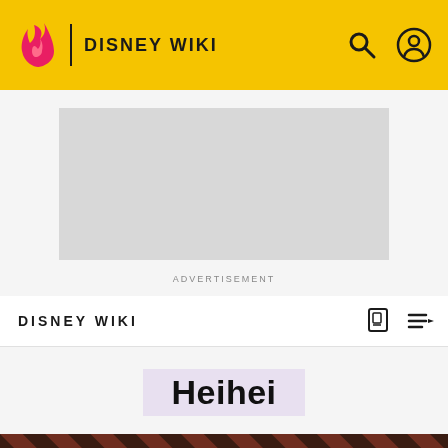DISNEY WIKI
[Figure (screenshot): Advertisement placeholder box]
ADVERTISEMENT
DISNEY WIKI
Heihei
[Figure (photo): The Sandman Will Keep You Awake... promotional banner with a dark-haired figure against a striped background]